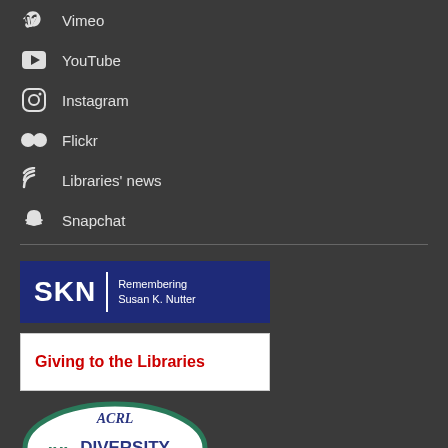Vimeo
YouTube
Instagram
Flickr
Libraries' news
Snapchat
[Figure (logo): SKN - Remembering Susan K. Nutter logo, dark blue background with white text]
[Figure (logo): Giving to the Libraries banner, white background with red bold text]
[Figure (logo): ACRL Diversity Alliance 2019 oval logo with teal border and chevron arrows]